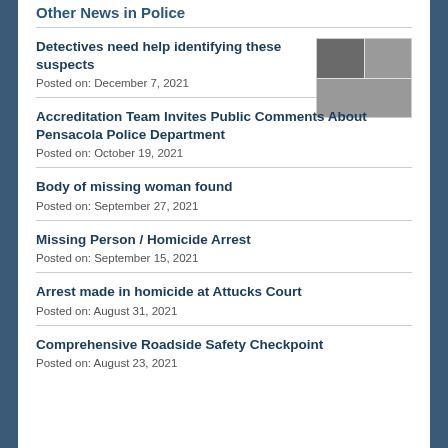Other News in Police
Detectives need help identifying these suspects
Posted on: December 7, 2021
[Figure (photo): Thumbnail grid of suspect photos]
Accreditation Team Invites Public Comments About Pensacola Police Department
Posted on: October 19, 2021
Body of missing woman found
Posted on: September 27, 2021
Missing Person / Homicide Arrest
Posted on: September 15, 2021
Arrest made in homicide at Attucks Court
Posted on: August 31, 2021
Comprehensive Roadside Safety Checkpoint
Posted on: August 23, 2021